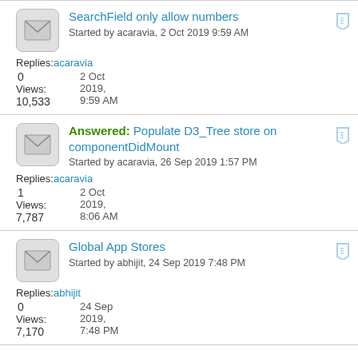SearchField only allow numbers
Started by acaravia, 2 Oct 2019 9:59 AM
Replies: 0 | acaravia | 2 Oct
Views: 10,533 | 2019, 9:59 AM
Answered: Populate D3_Tree store on componentDidMount
Started by acaravia, 26 Sep 2019 1:57 PM
Replies: 1 | acaravia | 2 Oct
Views: 7,787 | 2019, 8:06 AM
Global App Stores
Started by abhijit, 24 Sep 2019 7:48 PM
Replies: 0 | abhijit | 24 Sep
Views: 7,170 | 2019, 7:48 PM